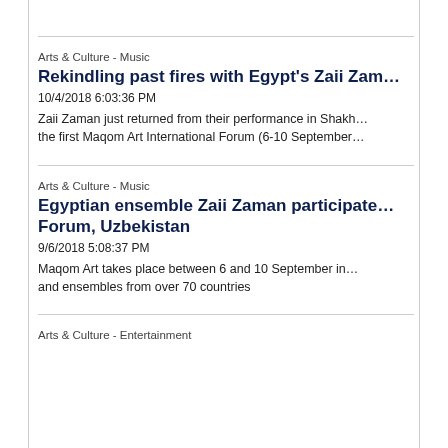Arts & Culture - Music
Rekindling past fires with Egypt's Zaii Zam…
10/4/2018 6:03:36 PM
Zaii Zaman just returned from their performance in Shakh… the first Maqom Art International Forum (6-10 September…
Arts & Culture - Music
Egyptian ensemble Zaii Zaman participate… Forum, Uzbekistan
9/6/2018 5:08:37 PM
Maqom Art takes place between 6 and 10 September in… and ensembles from over 70 countries
Arts & Culture - Entertainment